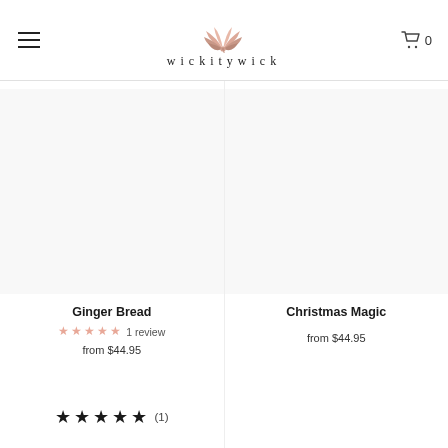wickitywick
Ginger Bread
1 review
from $44.95
Christmas Magic
from $44.95
★★★★★ (1)